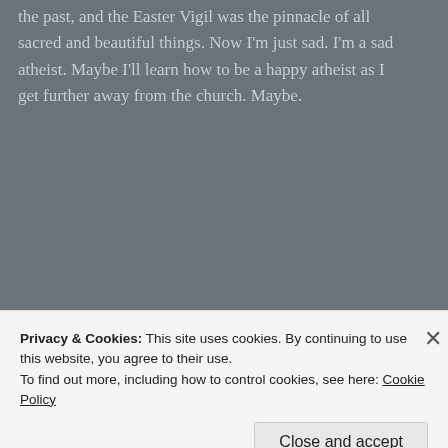the past, and the Easter Vigil was the pinnacle of all sacred and beautiful things. Now I'm just sad. I'm a sad atheist. Maybe I'll learn how to be a happy atheist as I get further away from the church. Maybe.
★ Like
REPLY
skirtonavent
Privacy & Cookies: This site uses cookies. By continuing to use this website, you agree to their use.
To find out more, including how to control cookies, see here: Cookie Policy
Close and accept